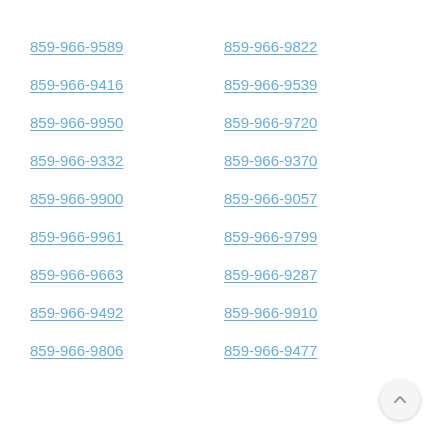859-966-9589
859-966-9822
859-966-9416
859-966-9539
859-966-9950
859-966-9720
859-966-9332
859-966-9370
859-966-9900
859-966-9057
859-966-9961
859-966-9799
859-966-9663
859-966-9287
859-966-9492
859-966-9910
859-966-9806
859-966-9477